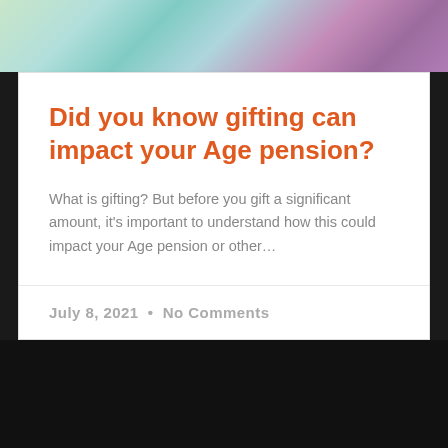[Figure (photo): Colorful wrapped gift boxes with ribbons, cropped photo strip at the top of the card]
Did you know gifting can impact your Age pension?
What is gifting? But before you gift a significant amount, it's important to understand how this could impact your Age pension or other…
READ MORE »
July 8, 2021  •  No Comments